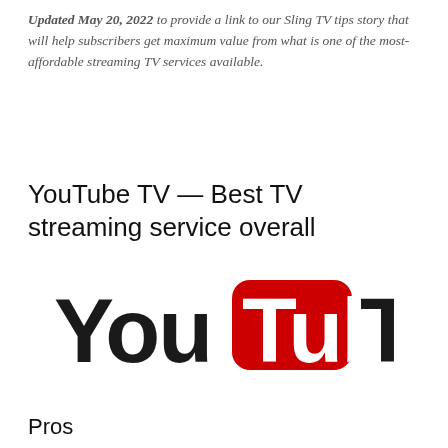Updated May 20, 2022 to provide a link to our Sling TV tips story that will help subscribers get maximum value from what is one of the most-affordable streaming TV services available.
YouTube TV — Best TV streaming service overall
[Figure (logo): YouTube TV logo with 'You' in black, 'Tube' in white on red rounded rectangle, and 'TV' in black bold text]
Pros